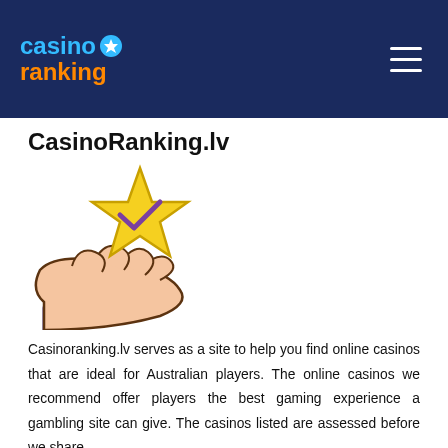casino ranking
CasinoRanking.lv
[Figure (illustration): Icon of a hand holding a star with a checkmark, representing casino recommendations.]
Casinoranking.lv serves as a site to help you find online casinos that are ideal for Australian players. The online casinos we recommend offer players the best gaming experience a gambling site can give. The casinos listed are assessed before we share